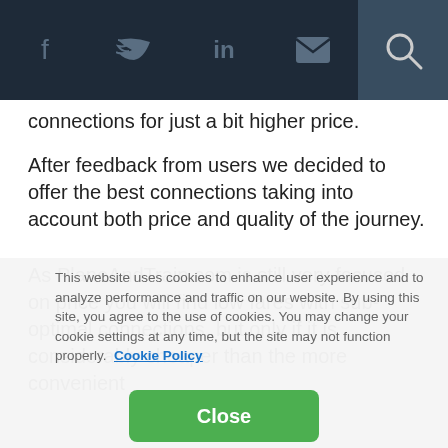Navigation bar with social icons: facebook, twitter, linkedin, email, search
connections for just a bit higher price.
After feedback from users we decided to offer the best connections taking into account both price and quality of the journey.
As PlaneAndTrain.com is still very focused on price you will find low fares with sub-optimal connections, but only if it is considerably cheaper than the more convenient
This website uses cookies to enhance user experience and to analyze performance and traffic on our website. By using this site, you agree to the use of cookies. You may change your cookie settings at any time, but the site may not function properly. Cookie Policy
Close